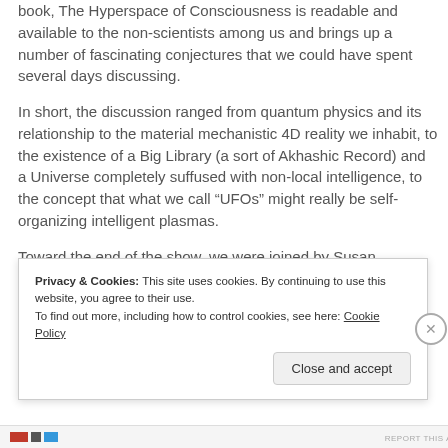book, The Hyperspace of Consciousness is readable and available to the non-scientists among us and brings up a number of fascinating conjectures that we could have spent several days discussing.
In short, the discussion ranged from quantum physics and its relationship to the material mechanistic 4D reality we inhabit, to the existence of a Big Library (a sort of Akhashic Record) and a Universe completely suffused with non-local intelligence, to the concept that what we call “UFOs” might really be self-organizing intelligent plasmas.
Toward the end of the show, we were joined by Susan
Privacy & Cookies: This site uses cookies. By continuing to use this website, you agree to their use.
To find out more, including how to control cookies, see here: Cookie Policy
Close and accept